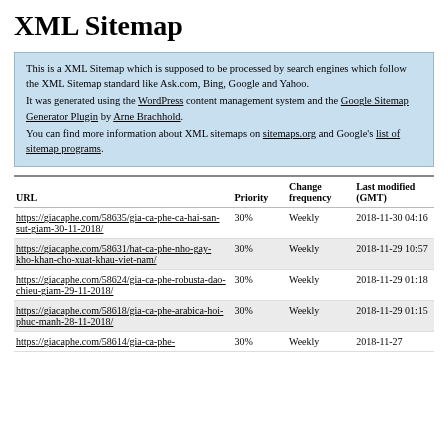XML Sitemap
This is a XML Sitemap which is supposed to be processed by search engines which follow the XML Sitemap standard like Ask.com, Bing, Google and Yahoo.
It was generated using the WordPress content management system and the Google Sitemap Generator Plugin by Arne Brachhold.
You can find more information about XML sitemaps on sitemaps.org and Google's list of sitemap programs.
| URL | Priority | Change frequency | Last modified (GMT) |
| --- | --- | --- | --- |
| https://giacaphe.com/58635/gia-ca-phe-ca-hai-san-sut-giam-30-11-2018/ | 30% | Weekly | 2018-11-30 04:16 |
| https://giacaphe.com/58631/hat-ca-phe-nho-gay-kho-khan-cho-xuat-khau-viet-nam/ | 30% | Weekly | 2018-11-29 10:57 |
| https://giacaphe.com/58624/gia-ca-phe-robusta-dao-chieu-giam-29-11-2018/ | 30% | Weekly | 2018-11-29 01:18 |
| https://giacaphe.com/58618/gia-ca-phe-arabica-hoi-phuc-manh-28-11-2018/ | 30% | Weekly | 2018-11-29 01:15 |
| https://giacaphe.com/58614/gia-ca-phe-... | 30% | Weekly | 2018-11-27 |